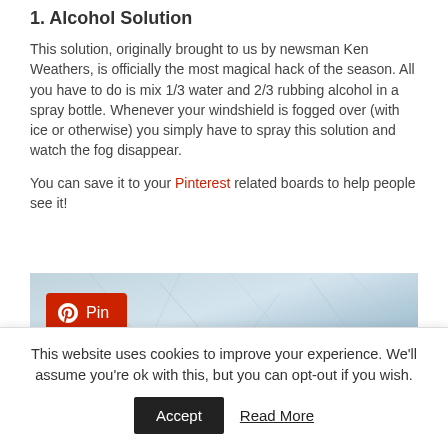1. Alcohol Solution
This solution, originally brought to us by newsman Ken Weathers, is officially the most magical hack of the season. All you have to do is mix 1/3 water and 2/3 rubbing alcohol in a spray bottle. Whenever your windshield is fogged over (with ice or otherwise) you simply have to spray this solution and watch the fog disappear.
You can save it to your Pinterest related boards to help people see it!
[Figure (photo): Icy/frosted windshield surface with a Pinterest Pin button overlay in the bottom-left corner]
This website uses cookies to improve your experience. We'll assume you're ok with this, but you can opt-out if you wish.